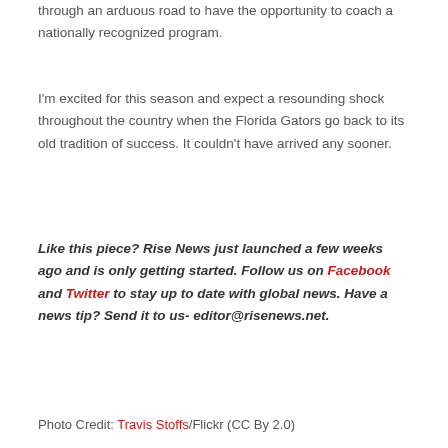through an arduous road to have the opportunity to coach a nationally recognized program.
I'm excited for this season and expect a resounding shock throughout the country when the Florida Gators go back to its old tradition of success. It couldn't have arrived any sooner.
Like this piece? Rise News just launched a few weeks ago and is only getting started. Follow us on Facebook and Twitter to stay up to date with global news. Have a news tip? Send it to us- editor@risenews.net.
Photo Credit: Travis Stoffs/Flickr (CC By 2.0)